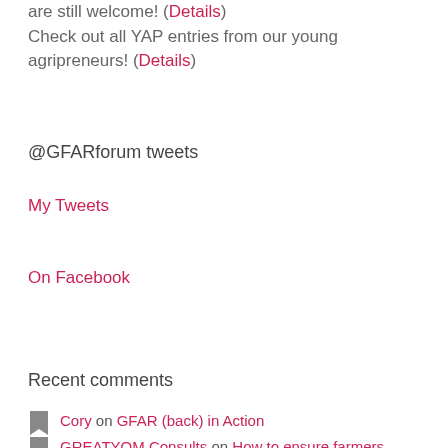are still welcome! (Details)
Check out all YAP entries from our young agripreneurs! (Details)
@GFARforum tweets
My Tweets
On Facebook
Recent comments
Cory on GFAR (back) in Action
GREATYOM Consults on How to ensure farmers